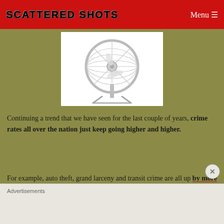Scattered Shots | Menu
[Figure (photo): A silver/chrome floor fan on a white background, shown from the front at a slight angle, with wire grille and metal stand visible.]
Continuing a trend that we have seen for the last couple of years, crime rates all over the nation just keep going higher and higher.
For example, auto theft, grand larceny and transit crime are all up by more than 50 percent in New York City so far this year…
Advertisements